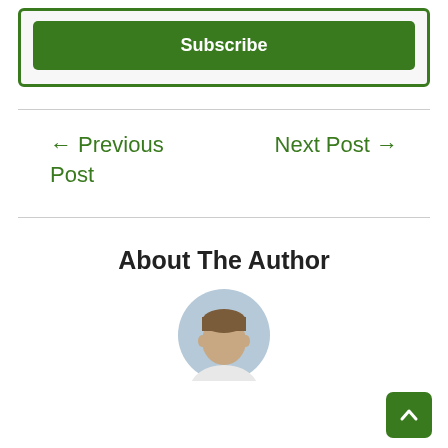[Figure (other): Green Subscribe button inside a green-bordered box]
← Previous Post
Next Post →
About The Author
[Figure (photo): Circular avatar photo of a man with short brown hair, light blue/grey background]
[Figure (other): Green scroll-to-top button with upward chevron arrow, bottom right corner]